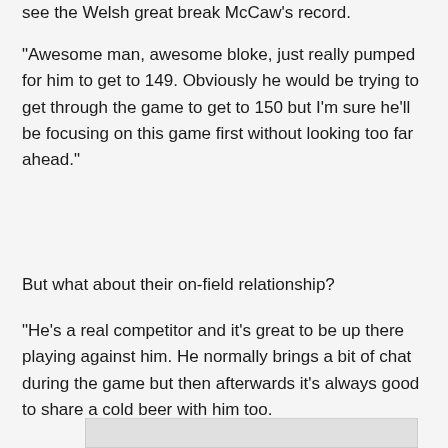see the Welsh great break McCaw's record.
“Awesome man, awesome bloke, just really pumped for him to get to 149. Obviously he would be trying to get through the game to get to 150 but I’m sure he’ll be focusing on this game first without looking too far ahead.”
But what about their on-field relationship?
“He’s a real competitor and it’s great to be up there playing against him. He normally brings a bit of chat during the game but then afterwards it’s always good to share a cold beer with him too.
[Figure (other): Partial grey/light box at bottom of page, partially visible]